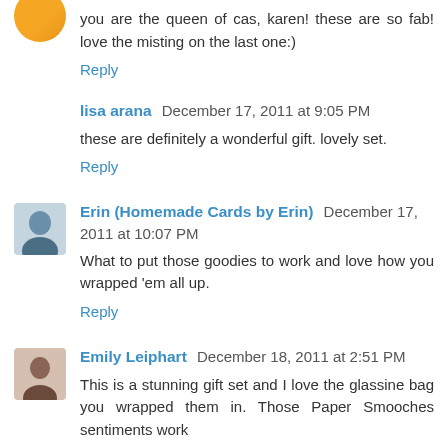you are the queen of cas, karen! these are so fab! love the misting on the last one:)
Reply
lisa arana December 17, 2011 at 9:05 PM
these are definitely a wonderful gift. lovely set.
Reply
Erin (Homemade Cards by Erin) December 17, 2011 at 10:07 PM
What to put those goodies to work and love how you wrapped 'em all up.
Reply
Emily Leiphart December 18, 2011 at 2:51 PM
This is a stunning gift set and I love the glassine bag you wrapped them in. Those Paper Smooches sentiments work